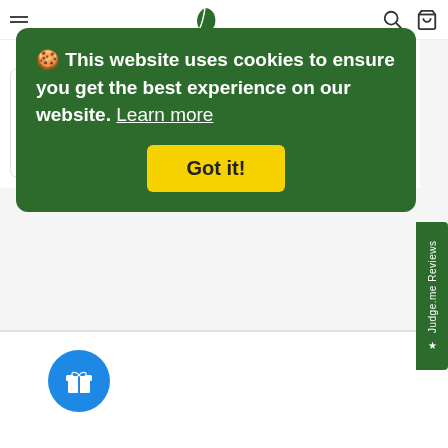Navigation header with hamburger menu, logo, search and basket icons
🍪 This website uses cookies to ensure you get the best experience on our website. Learn more
Got it!
Uwell Whirl S Replacement Mesh Coils 0.8ohms
£9.00
Uwell Whirl S Replacement Pods
£5.70
★ Judge.me Reviews
About
Account Login
Ab...
Co...s
Search
Ichor Rewards